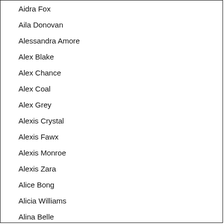Aidra Fox
Aila Donovan
Alessandra Amore
Alex Blake
Alex Chance
Alex Coal
Alex Grey
Alexis Crystal
Alexis Fawx
Alexis Monroe
Alexis Zara
Alice Bong
Alicia Williams
Alina Belle
Alina Crystall
Alina Lopez